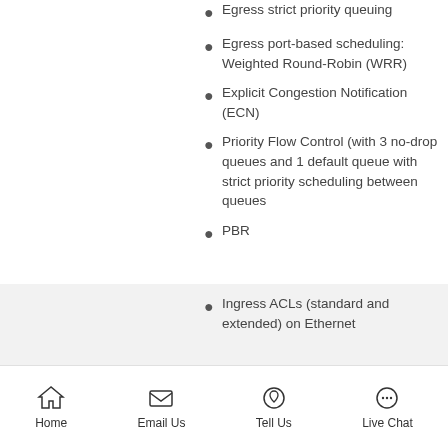Egress strict priority queuing
Egress port-based scheduling: Weighted Round-Robin (WRR)
Explicit Congestion Notification (ECN)
Priority Flow Control (with 3 no-drop queues and 1 default queue with strict priority scheduling between queues
PBR
Ingress ACLs (standard and extended) on Ethernet
Home  Email Us  Tell Us  Live Chat